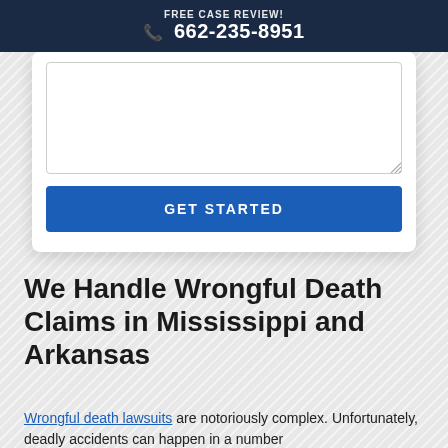FREE CASE REVIEW! 662-235-8951
[Figure (screenshot): Web form card with a large textarea input and a blue GET STARTED button]
We Handle Wrongful Death Claims in Mississippi and Arkansas
Wrongful death lawsuits are notoriously complex. Unfortunately, deadly accidents can happen in a number